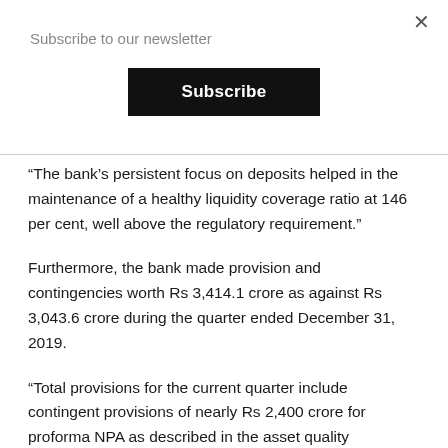Subscribe to our newsletter
Subscribe
“The bank’s persistent focus on deposits helped in the maintenance of a healthy liquidity coverage ratio at 146 per cent, well above the regulatory requirement.”
Furthermore, the bank made provision and contingencies worth Rs 3,414.1 crore as against Rs 3,043.6 crore during the quarter ended December 31, 2019.
“Total provisions for the current quarter include contingent provisions of nearly Rs 2,400 crore for proforma NPA as described in the asset quality